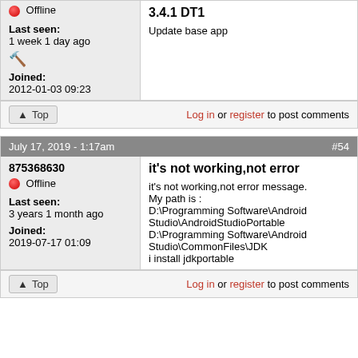Offline
Last seen: 1 week 1 day ago
Joined: 2012-01-03 09:23
3.4.1 DT1
Update base app
Log in or register to post comments
July 17, 2019 - 1:17am  #54
875368630
Offline
Last seen: 3 years 1 month ago
Joined: 2019-07-17 01:09
it's not working,not error
it's not working,not error message.
My path is :
D:\Programming Software\Android Studio\AndroidStudioPortable
D:\Programming Software\Android Studio\CommonFiles\JDK
i install jdkportable
Log in or register to post comments